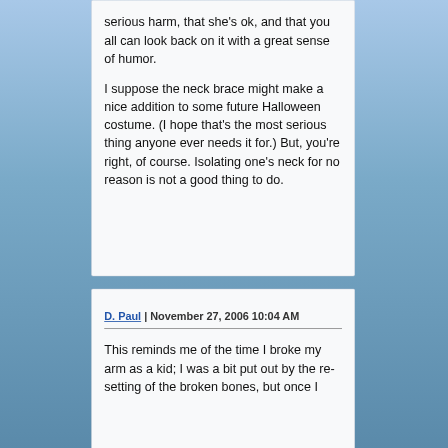serious harm, that she's ok, and that you all can look back on it with a great sense of humor.

I suppose the neck brace might make a nice addition to some future Halloween costume. (I hope that's the most serious thing anyone ever needs it for.) But, you're right, of course. Isolating one's neck for no reason is not a good thing to do.
D. Paul | November 27, 2006 10:04 AM
This reminds me of the time I broke my arm as a kid; I was a bit put out by the re-setting of the broken bones, but once I